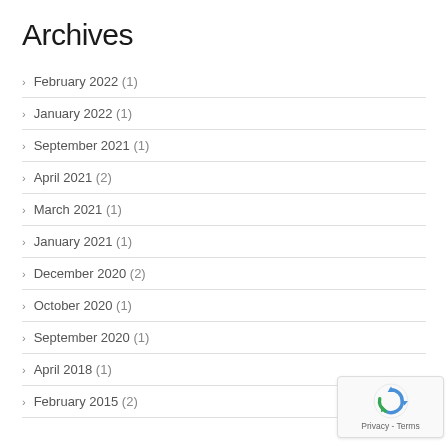Archives
February 2022 (1)
January 2022 (1)
September 2021 (1)
April 2021 (2)
March 2021 (1)
January 2021 (1)
December 2020 (2)
October 2020 (1)
September 2020 (1)
April 2018 (1)
February 2015 (2)